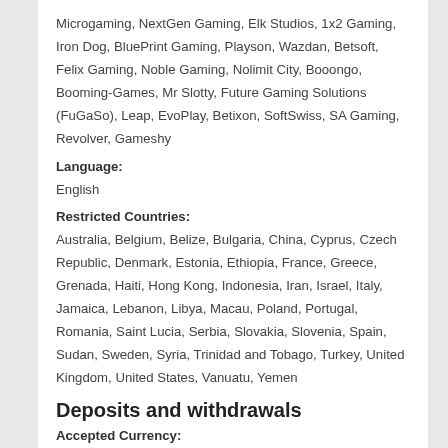Microgaming, NextGen Gaming, Elk Studios, 1x2 Gaming, Iron Dog, BluePrint Gaming, Playson, Wazdan, Betsoft, Felix Gaming, Noble Gaming, Nolimit City, Booongo, Booming-Games, Mr Slotty, Future Gaming Solutions (FuGaSo), Leap, EvoPlay, Betixon, SoftSwiss, SA Gaming, Revolver, Gameshy
Language:
English
Restricted Countries:
Australia, Belgium, Belize, Bulgaria, China, Cyprus, Czech Republic, Denmark, Estonia, Ethiopia, France, Greece, Grenada, Haiti, Hong Kong, Indonesia, Iran, Israel, Italy, Jamaica, Lebanon, Libya, Macau, Poland, Portugal, Romania, Saint Lucia, Serbia, Slovakia, Slovenia, Spain, Sudan, Sweden, Syria, Trinidad and Tobago, Turkey, United Kingdom, United States, Vanuatu, Yemen
Deposits and withdrawals
Accepted Currency: